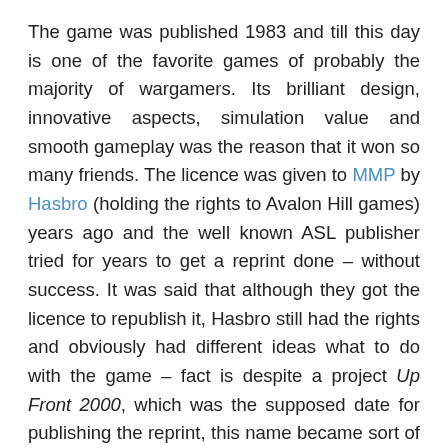The game was published 1983 and till this day is one of the favorite games of probably the majority of wargamers. Its brilliant design, innovative aspects, simulation value and smooth gameplay was the reason that it won so many friends. The licence was given to MMP by Hasbro (holding the rights to Avalon Hill games) years ago and the well known ASL publisher tried for years to get a reprint done – without success. It was said that although they got the licence to republish it, Hasbro still had the rights and obviously had different ideas what to do with the game – fact is despite a project Up Front 2000, which was the supposed date for publishing the reprint, this name became sort of a placeholder even after the year 2000 and now the time for a possible reprint by MMP is over. So it seems that the licence is given to Valley Games now and